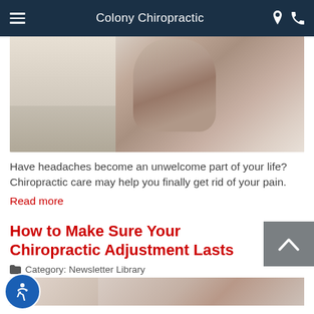Colony Chiropractic
[Figure (photo): Person holding their head in pain, sitting at a desk with office shelves in the background]
Have headaches become an unwelcome part of your life? Chiropractic care may help you finally get rid of your pain.
Read more
How to Make Sure Your Chiropractic Adjustment Lasts
Category: Newsletter Library
[Figure (photo): Person receiving a chiropractic adjustment]